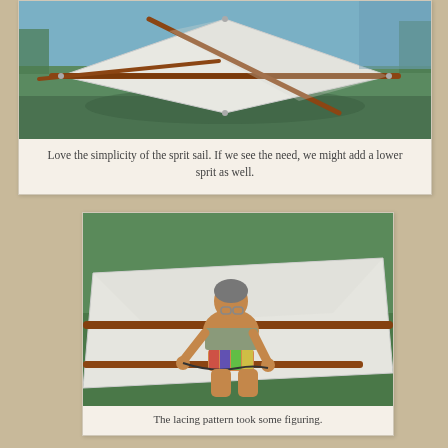[Figure (photo): A sprit sail laid out flat on green grass, showing a diamond/parallelogram shaped white sail with wooden sprit poles crossing through it. Water and trees visible in background.]
Love the simplicity of the sprit sail.  If we see the need, we might add a lower sprit as well.
[Figure (photo): A person sitting on green grass working on a white sail, attaching lacing. A long wooden sprit pole is visible horizontally across the sail.]
The lacing pattern took some figuring.